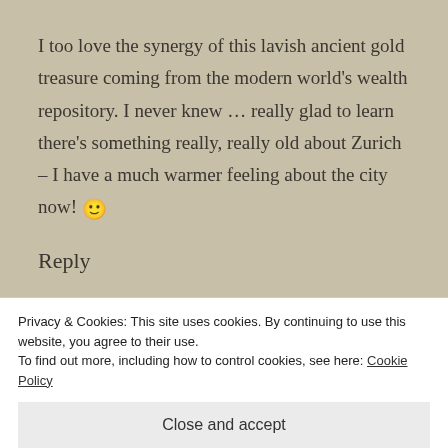I too love the synergy of this lavish ancient gold treasure coming from the modern world's wealth repository. I never knew … really glad to learn there's something really, really old about Zurich – I have a much warmer feeling about the city now! 🙂
Reply
LAMEADVENTURES
DECEMBER 4, 2013 AT 1:36 AM
Privacy & Cookies: This site uses cookies. By continuing to use this website, you agree to their use.
To find out more, including how to control cookies, see here: Cookie Policy
Close and accept